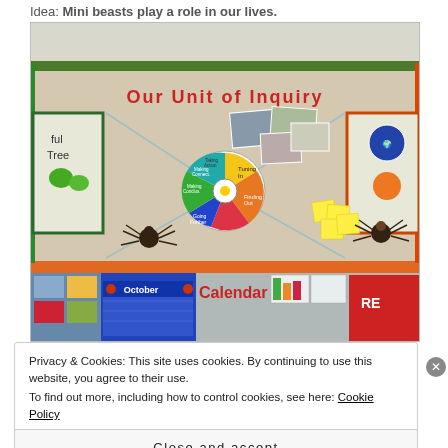Idea: Mini beasts play a role in our lives.
[Figure (photo): Classroom bulletin board showing 'Our Unit of Inquiry' display with a colorful inquiry wheel (pie chart with sections: Tuning In, Taking Action, Making Conclusions, and others) at center, photos and papers pinned around it, decorative spiders, and a 'Calendar - October' section below with educational materials.]
Privacy & Cookies: This site uses cookies. By continuing to use this website, you agree to their use.
To find out more, including how to control cookies, see here: Cookie Policy
Close and accept